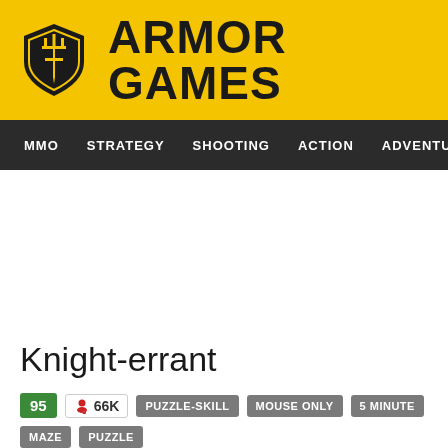[Figure (logo): Armor Games logo: yellow background with shield icon and bold 'ARMOR GAMES' text]
MMO  STRATEGY  SHOOTING  ACTION  ADVENTURE  P
Knight-errant
95  🎯 66K  PUZZLE-SKILL  MOUSE ONLY  5 MINUTE  MAZE  PUZZLE